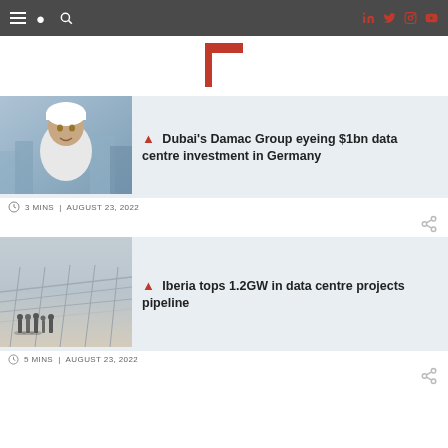Navigation bar with menu, search, and social icons (LinkedIn, Twitter, Instagram)
[Figure (logo): Red T logo of The Telegraph or similar publication]
[Figure (photo): Photo of a man in traditional Arab dress (thobe and keffiyeh) with city background]
Dubai's Damac Group eyeing $1bn data centre investment in Germany
3 MINS | AUGUST 23, 2022
[Figure (photo): Aerial/elevated view of a construction site with workers visible]
Iberia tops 1.2GW in data centre projects pipeline
5 MINS | AUGUST 23, 2022